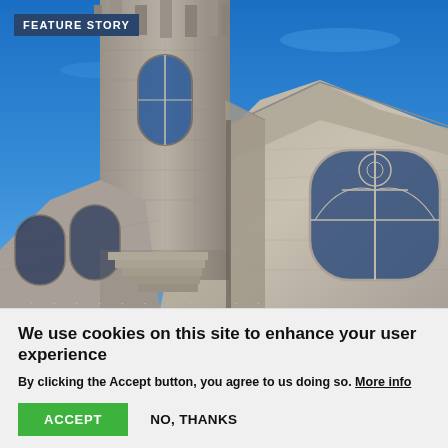[Figure (photo): Looking up at a grey stone Gothic church tower and nave against a bright blue sky. The church features tall arched windows with tracery, stone buttresses, and medieval architectural details.]
FEATURE STORY
We use cookies on this site to enhance your user experience
By clicking the Accept button, you agree to us doing so. More info
ACCEPT   NO, THANKS